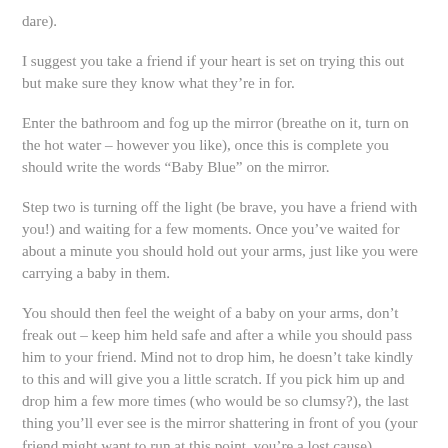dare).
I suggest you take a friend if your heart is set on trying this out but make sure they know what they’re in for.
Enter the bathroom and fog up the mirror (breathe on it, turn on the hot water – however you like), once this is complete you should write the words “Baby Blue” on the mirror.
Step two is turning off the light (be brave, you have a friend with you!) and waiting for a few moments. Once you’ve waited for about a minute you should hold out your arms, just like you were carrying a baby in them.
You should then feel the weight of a baby on your arms, don’t freak out – keep him held safe and after a while you should pass him to your friend. Mind not to drop him, he doesn’t take kindly to this and will give you a little scratch. If you pick him up and drop him a few more times (who would be so clumsy?), the last thing you’ll ever see is the mirror shattering in front of you (your friend might want to run at this point, you’re a lost cause).